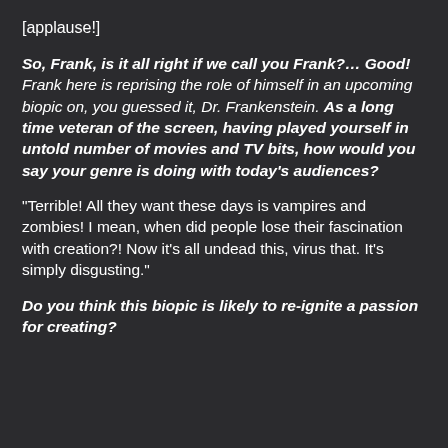[applause!]
So, Frank, is it all right if we call you Frank?… Good! Frank here is reprising the role of himself in an upcoming biopic on, you guessed it, Dr. Frankenstein.  As a long time veteran of the screen, having played yourself in untold number of movies and TV bits, how would you say your genre is doing with today's audiences?
“Terrible! All they want these days is vampires and zombies! I mean, when did people lose their fascination with creation?! Now it’s all undead this, virus that. It’s simply disgusting.”
Do you think this biopic is likely to re-ignite a passion for creating?